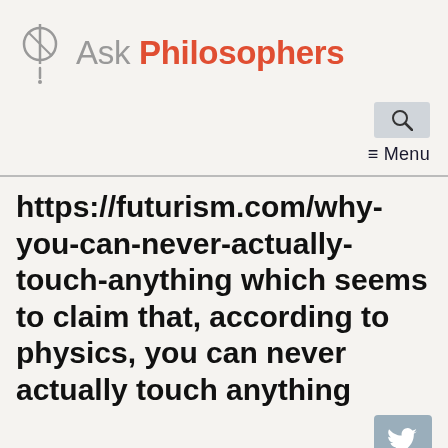[Figure (logo): Ask Philosophers logo: a circle with a diagonal line through it (phi symbol) and an exclamation mark below, in gray]
Ask Philosophers
[Figure (other): Search icon button (magnifying glass) in a light gray box]
≡ Menu
https://futurism.com/why-you-can-never-actually-touch-anything which seems to claim that, according to physics, you can never actually touch anything